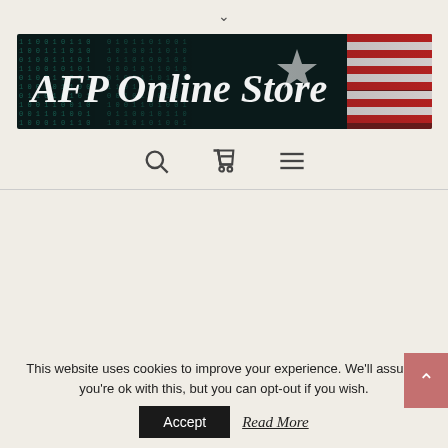[Figure (screenshot): AFP Online Store banner with dark background showing binary code and American flag, white bold italic text reading 'AFP Online Store']
[Figure (infographic): Navigation icons row: magnifying glass (search), shopping cart, and hamburger menu]
This website uses cookies to improve your experience. We'll assume you're ok with this, but you can opt-out if you wish.
Accept
Read More